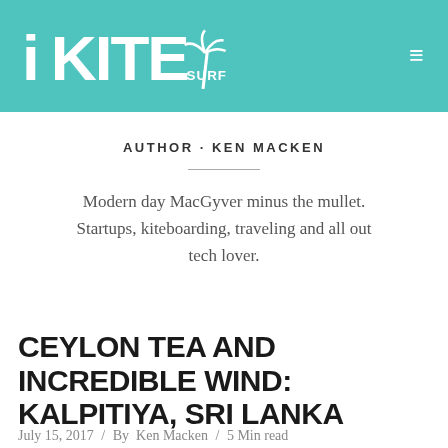iKITEsurf logo and navigation
AUTHOR · KEN MACKEN
Modern day MacGyver minus the mullet. Startups, kiteboarding, traveling and all out tech lover.
CEYLON TEA AND INCREDIBLE WIND: KALPITIYA, SRI LANKA
July 15, 2017 / By Ken Macken / 5 Min read